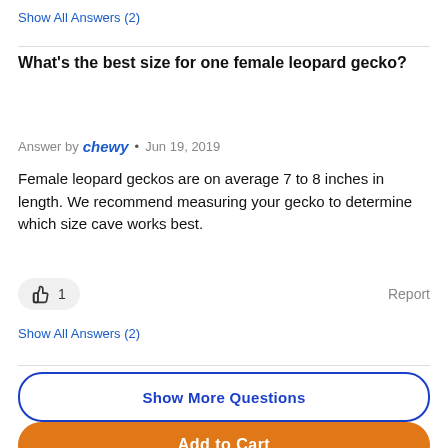Show All Answers (2)
What’s the best size for one female leopard gecko?
Answer by chewy • Jun 19, 2019
Female leopard geckos are on average 7 to 8 inches in length. We recommend measuring your gecko to determine which size cave works best.
👍 1    Report
Show All Answers (2)
Show More Questions
Add to Cart